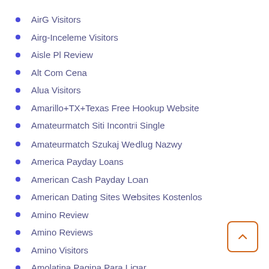AirG Visitors
Airg-Inceleme Visitors
Aisle Pl Review
Alt Com Cena
Alua Visitors
Amarillo+TX+Texas Free Hookup Website
Amateurmatch Siti Incontri Single
Amateurmatch Szukaj Wedlug Nazwy
America Payday Loans
American Cash Payday Loan
American Dating Sites Websites Kostenlos
Amino Review
Amino Reviews
Amino Visitors
Amolatina Pagina Para Ligar